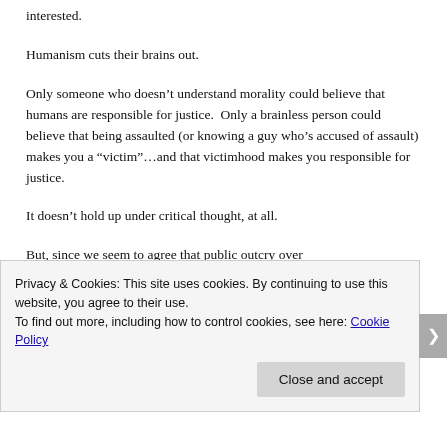interested.
Humanism cuts their brains out.
Only someone who doesn't understand morality could believe that humans are responsible for justice.  Only a brainless person could believe that being assaulted (or knowing a guy who's accused of assault) makes you a “victim”...and that victimhood makes you responsible for justice.
It doesn't hold up under critical thought, at all.
But, since we seem to agree that public outcry over
Privacy & Cookies: This site uses cookies. By continuing to use this website, you agree to their use.
To find out more, including how to control cookies, see here: Cookie Policy
Close and accept